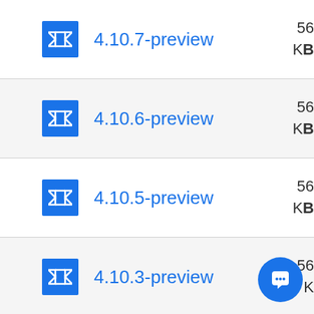4.10.7-preview
4.10.6-preview
4.10.5-preview
4.10.3-preview